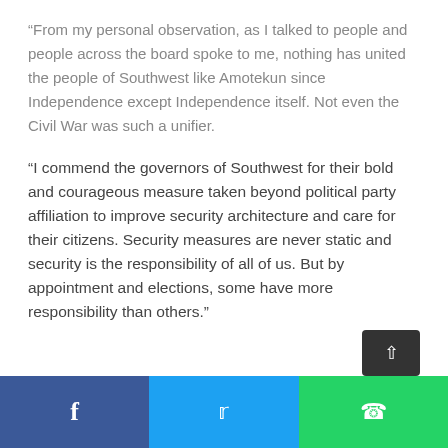“From my personal observation, as I talked to people and people across the board spoke to me, nothing has united the people of Southwest like Amotekun since Independence except Independence itself. Not even the Civil War was such a unifier.
“I commend the governors of Southwest for their bold and courageous measure taken beyond political party affiliation to improve security architecture and care for their citizens. Security measures are never static and security is the responsibility of all of us. But by appointment and elections, some have more responsibility than others.”
Facebook | Twitter | WhatsApp